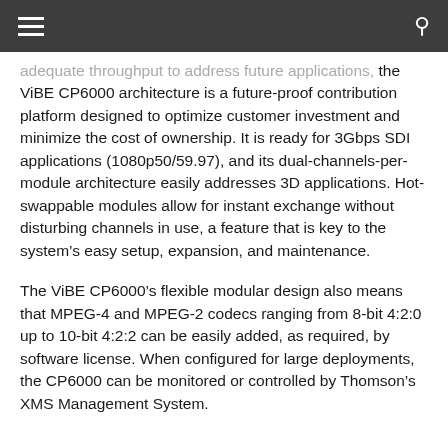Navigation menu and search
...adequate throughput to address future applications, the ViBE CP6000 architecture is a future-proof contribution platform designed to optimize customer investment and minimize the cost of ownership. It is ready for 3Gbps SDI applications (1080p50/59.97), and its dual-channels-per-module architecture easily addresses 3D applications. Hot-swappable modules allow for instant exchange without disturbing channels in use, a feature that is key to the system’s easy setup, expansion, and maintenance.
The ViBE CP6000’s flexible modular design also means that MPEG-4 and MPEG-2 codecs ranging from 8-bit 4:2:0 up to 10-bit 4:2:2 can be easily added, as required, by software license. When configured for large deployments, the CP6000 can be monitored or controlled by Thomson’s XMS Management System.